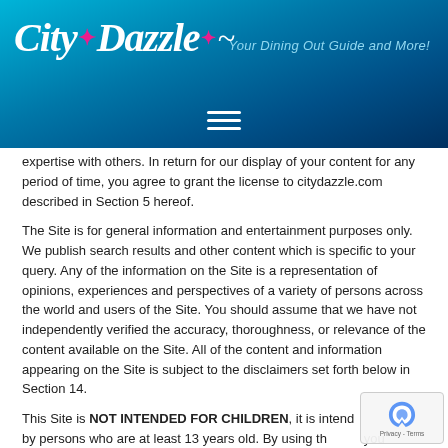City Dazzle — Your Dining Out Guide and More!
expertise with others. In return for our display of your content for any period of time, you agree to grant the license to citydazzle.com described in Section 5 hereof.
The Site is for general information and entertainment purposes only. We publish search results and other content which is specific to your query. Any of the information on the Site is a representation of opinions, experiences and perspectives of a variety of persons across the world and users of the Site. You should assume that we have not independently verified the accuracy, thoroughness, or relevance of the content available on the Site. All of the content and information appearing on the Site is subject to the disclaimers set forth below in Section 14.
This Site is NOT INTENDED FOR CHILDREN, it is intended for use by persons who are at least 13 years old. By using this site you represent and warrant that you are at least 13 years old, and